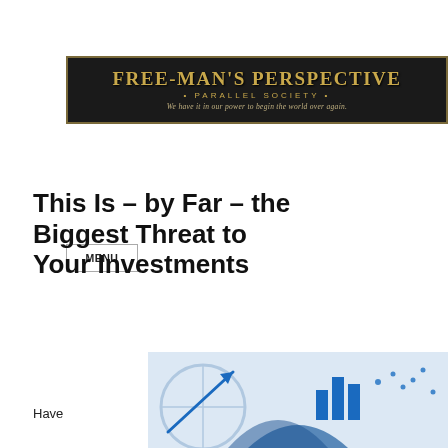[Figure (logo): Free-Man's Perspective Parallel Society logo banner with dark background and gold text. Tagline: We have it in our power to begin the world over again.]
MENU
This Is – by Far – the Biggest Threat to Your Investments
Have
[Figure (illustration): Partial image showing investment/finance related icons including an upward arrow chart, bar chart, and other financial graphics on a light blue background.]